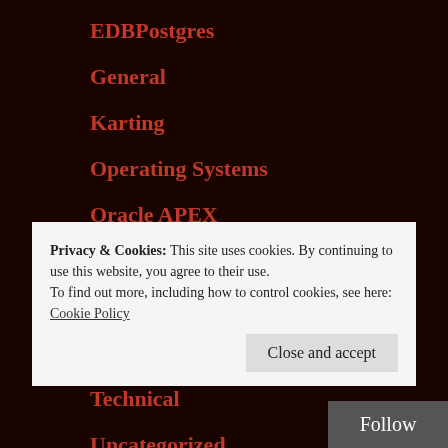EDBPostgres
General
Karting
Operating Systems
Oracle APEX
Oracle tips
PostgreSQL
Standard Edition
Technical
Uncategorized
Privacy & Cookies: This site uses cookies. By continuing to use this website, you agree to their use.
To find out more, including how to control cookies, see here: Cookie Policy
Close and accept
Follow